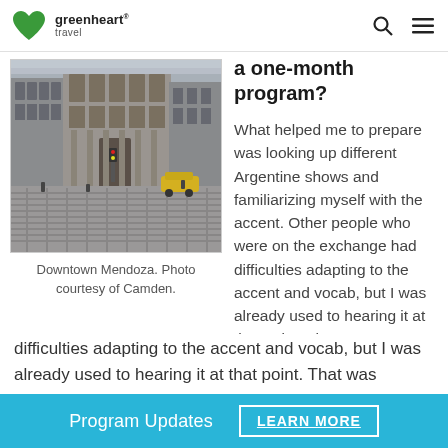greenheart travel
[Figure (photo): Street-level photo of downtown Mendoza, showing a wide cobblestone plaza with classical stone buildings, a yellow car, and pedestrians in the background.]
Downtown Mendoza. Photo courtesy of Camden.
a one-month program?
What helped me to prepare was looking up different Argentine shows and familiarizing myself with the accent. Other people who were on the exchange had difficulties adapting to the accent and vocab, but I was already used to hearing it at that point. That was
Program Updates   LEARN MORE